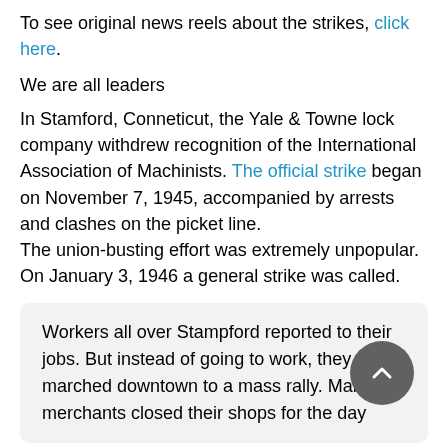To see original news reels about the strikes, click here.
We are all leaders
In Stamford, Conneticut, the Yale & Towne lock company withdrew recognition of the International Association of Machinists. The official strike began on November 7, 1945, accompanied by arrests and clashes on the picket line.
The union-busting effort was extremely unpopular. On January 3, 1946 a general strike was called.
Workers all over Stampford reported to their jobs. But instead of going to work, they marched downtown to a mass rally. Many merchants closed their shops for the day